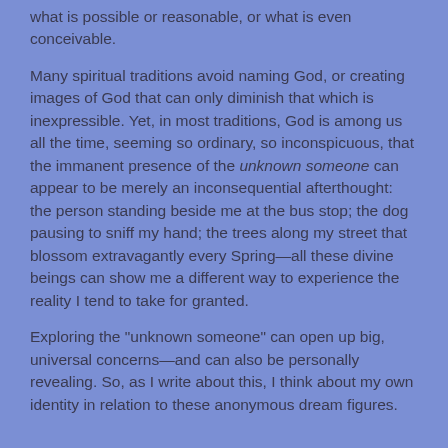what is possible or reasonable, or what is even conceivable.
Many spiritual traditions avoid naming God, or creating images of God that can only diminish that which is inexpressible. Yet, in most traditions, God is among us all the time, seeming so ordinary, so inconspicuous, that the immanent presence of the unknown someone can appear to be merely an inconsequential afterthought: the person standing beside me at the bus stop; the dog pausing to sniff my hand; the trees along my street that blossom extravagantly every Spring—all these divine beings can show me a different way to experience the reality I tend to take for granted.
Exploring the "unknown someone" can open up big, universal concerns—and can also be personally revealing. So, as I write about this, I think about my own identity in relation to these anonymous dream figures.